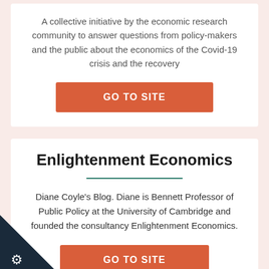A collective initiative by the economic research community to answer questions from policy-makers and the public about the economics of the Covid-19 crisis and the recovery
[Figure (other): Orange button labeled GO TO SITE]
Enlightenment Economics
Diane Coyle's Blog. Diane is Bennett Professor of Public Policy at the University of Cambridge and founded the consultancy Enlightenment Economics.
[Figure (other): Orange button labeled GO TO SITE]
[Figure (logo): Dark navy triangle corner badge with white gear/cog icon in bottom-left corner]